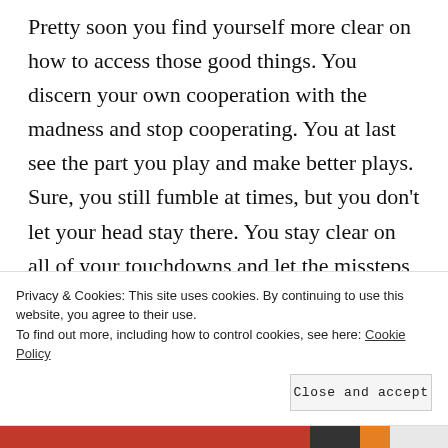Pretty soon you find yourself more clear on how to access those good things. You discern your own cooperation with the madness and stop cooperating. You at last see the part you play and make better plays. Sure, you still fumble at times, but you don't let your head stay there. You stay clear on all of your touchdowns and let the missteps go. In short, you love yourself and continue to love yourself, bulges, sore knees and all. You become adamant not to be against yourself any longer. You know God loves you and you walk out with that love. And, you get busy
Privacy & Cookies: This site uses cookies. By continuing to use this website, you agree to their use.
To find out more, including how to control cookies, see here: Cookie Policy
Close and accept